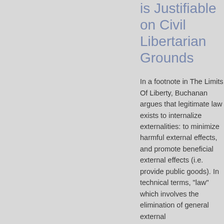is Justifiable on Civil Libertarian Grounds
In a footnote in The Limits Of Liberty, Buchanan argues that legitimate law exists to internalize externalities: to minimize harmful external effects, and promote beneficial external effects (i.e. provide public goods). In technical terms, "law" which involves the elimination of general external